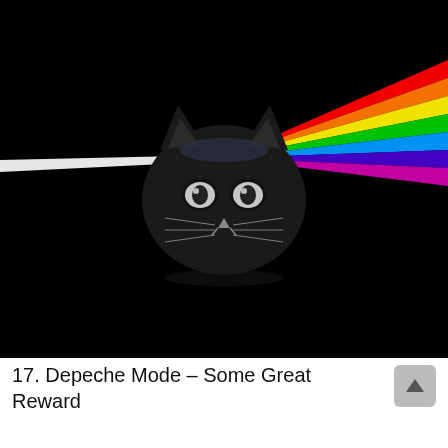[Figure (illustration): Parody album art in the style of Pink Floyd's Dark Side of the Moon. Black background with a black cat face silhouette in the center acting as a prism. A white beam of light enters from the upper left, hits the cat, and exits as a rainbow spectrum (red, orange, yellow, green, blue, indigo, violet) going to the upper right.]
17. Depeche Mode – Some Great Reward